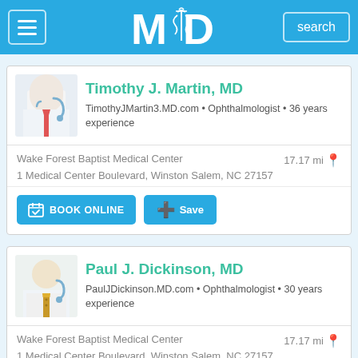[Figure (screenshot): MD website header with hamburger menu icon, MD logo with caduceus, and search button on blue background]
Timothy J. Martin, MD
TimothyJMartin3.MD.com • Ophthalmologist • 36 years experience
Wake Forest Baptist Medical Center    17.17 mi
1 Medical Center Boulevard, Winston Salem, NC 27157
BOOK ONLINE   Save
Paul J. Dickinson, MD
PaulJDickinson.MD.com • Ophthalmologist • 30 years experience
Wake Forest Baptist Medical Center    17.17 mi
1 Medical Center Boulevard, Winston Salem, NC 27157